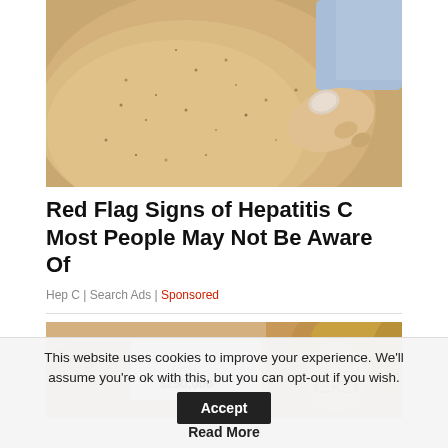[Figure (photo): Close-up photo of a person's arm/leg skin showing small dark spots/dots, with a hand pressing or touching the skin. A blue shirt is visible in the upper right corner.]
Red Flag Signs of Hepatitis C Most People May Not Be Aware Of
Hep C | Search Ads | Sponsored
[Figure (photo): Photo of a woman holding up a check showing TOTAL: $250,000. The woman appears to be smiling and wearing glasses.]
This website uses cookies to improve your experience. We'll assume you're ok with this, but you can opt-out if you wish.
Accept
Read More